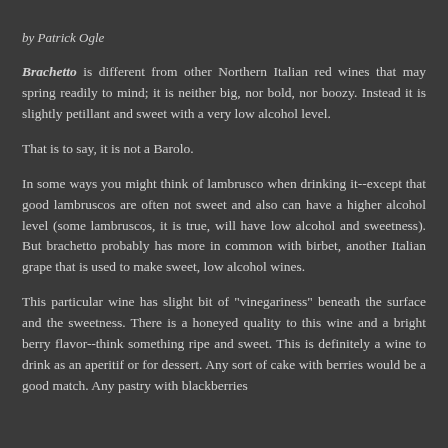by Patrick Ogle
Brachetto is different from other Northern Italian red wines that may spring readily to mind; it is neither big, nor bold, nor boozy. Instead it is slightly petillant and sweet with a very low alcohol level.
That is to say, it is not a Barolo.
In some ways you might think of lambrusco when drinking it--except that good lambruscos are often not sweet and also can have a higher alcohol level (some lambruscos, it is true, will have low alcohol and sweetness). But brachetto probably has more in common with birbet, another Italian grape that is used to make sweet, low alcohol wines.
This particular wine has slight bit of "vinegariness" beneath the surface and the sweetness. There is a honeyed quality to this wine and a bright berry flavor--think something ripe and sweet. This is definitely a wine to drink as an aperitif or for dessert. Any sort of cake with berries would be a good match. Any pastry with blackberries